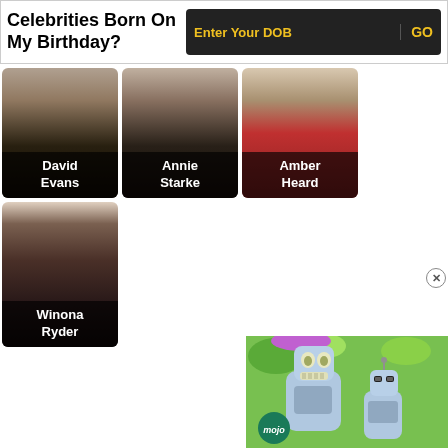Celebrities Born On My Birthday?
Enter Your DOB
GO
[Figure (photo): Celebrity photo card: David Evans]
[Figure (photo): Celebrity photo card: Annie Starke]
[Figure (photo): Celebrity photo card: Amber Heard]
[Figure (photo): Celebrity photo card: Winona Ryder]
[Figure (illustration): Animated Bender robot characters with WatchMojo logo, advertisement overlay]